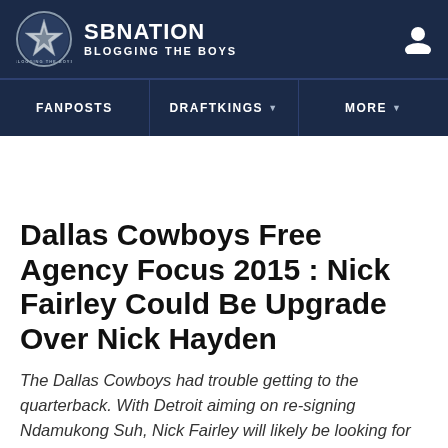SB NATION — BLOGGING THE BOYS
FANPOSTS | DRAFTKINGS | MORE
Dallas Cowboys Free Agency Focus 2015 : Nick Fairley Could Be Upgrade Over Nick Hayden
The Dallas Cowboys had trouble getting to the quarterback. With Detroit aiming on re-signing Ndamukong Suh, Nick Fairley will likely be looking for another home. Maybe some Marinelli magic could do both parties good